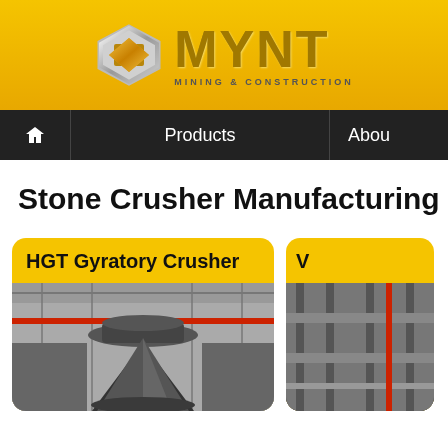[Figure (logo): MYNT Mining & Construction company logo with hexagonal silver icon and gold metallic MYNT text with subtitle MINING & CONSTRUCTION]
Products | About
Stone Crusher Manufacturing I...
[Figure (photo): HGT Gyratory Crusher product card with photo of industrial gyratory crusher machinery in a factory setting with steel structure]
[Figure (photo): Second product card (partially visible) with photo of industrial machinery]